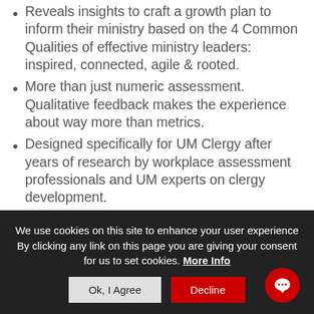Reveals insights to craft a growth plan to inform their ministry based on the 4 Common Qualities of effective ministry leaders: inspired, connected, agile & rooted.
More than just numeric assessment. Qualitative feedback makes the experience about way more than metrics.
Designed specifically for UM Clergy after years of research by workplace assessment professionals and UM experts on clergy development.
Tested and verified by Explorance, an international leader in workplace assessment tools.
We use cookies on this site to enhance your user experience By clicking any link on this page you are giving your consent for us to set cookies. More Info
Ok, I Agree | Decline